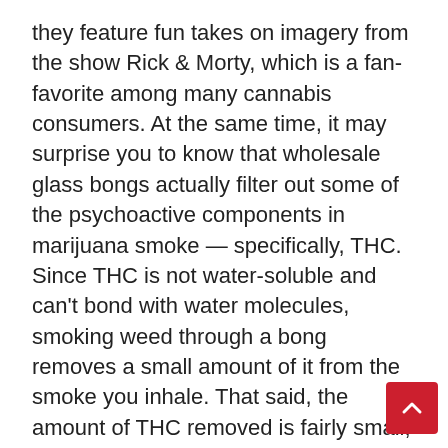they feature fun takes on imagery from the show Rick & Morty, which is a fan-favorite among many cannabis consumers. At the same time, it may surprise you to know that wholesale glass bongs actually filter out some of the psychoactive components in marijuana smoke — specifically, THC. Since THC is not water-soluble and can't bond with water molecules, smoking weed through a bong removes a small amount of it from the smoke you inhale. That said, the amount of THC removed is fairly small, and often unnoticeable — in most cases, only veteran smokers can feel the difference. There is a fact, that cannabis does not cause lung cancer by itself, but cannabis smoke contains harmful substances, which can cause irritation to your